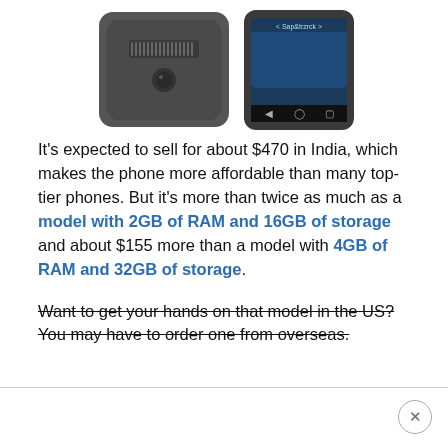[Figure (photo): Two smartphones (back and front view) with dark gray/black casing shown at the top of the page, partially cropped]
It's expected to sell for about $470 in India, which makes the phone more affordable than many top-tier phones. But it's more than twice as much as a model with 2GB of RAM and 16GB of storage and about $155 more than a model with 4GB of RAM and 32GB of storage.
Want to get your hands on that model in the US? You may have to order one from overseas.